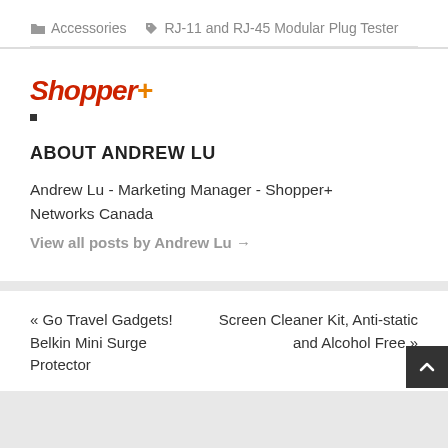Accessories   RJ-11 and RJ-45 Modular Plug Tester
[Figure (logo): Shopper+ logo in red and orange italic text with a small dark square dot]
ABOUT ANDREW LU
Andrew Lu - Marketing Manager - Shopper+ Networks Canada
View all posts by Andrew Lu →
« Go Travel Gadgets! Belkin Mini Surge Protector
Screen Cleaner Kit, Anti-static and Alcohol Free »